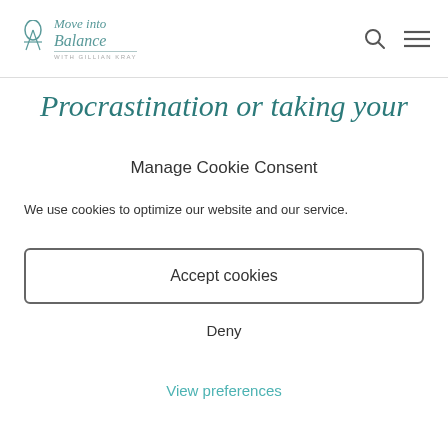Move into Balance — logo with search and menu icons
Procrastination or taking your
Manage Cookie Consent
We use cookies to optimize our website and our service.
Accept cookies
Deny
View preferences